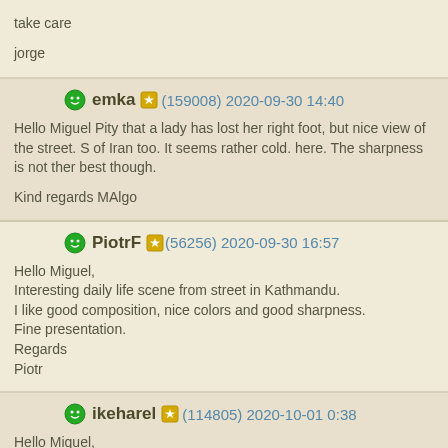take care

jorge
emka (159008) 2020-09-30 14:40
Hello Miguel Pity that a lady has lost her right foot, but nice view of the street. S of Iran too. It seems rather cold. here. The sharpness is not ther best though.

Kind regards MAlgo
PiotrF (56256) 2020-09-30 16:57
Hello Miguel,
Interesting daily life scene from street in Kathmandu.
I like good composition, nice colors and good sharpness.
Fine presentation.
Regards
Piotr
ikeharel (114805) 2020-10-01 0:38
Hello Miquel,